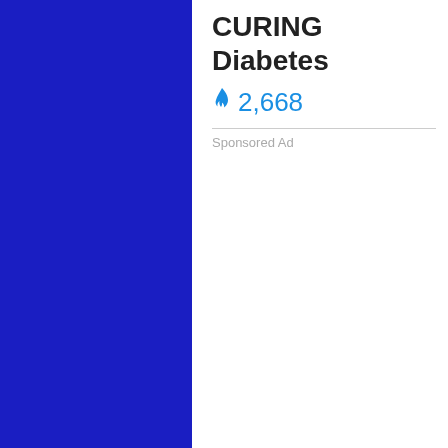[Figure (illustration): Solid dark blue rectangle panel on the left side of the page]
CURING Diabetes
🔥 2,668
Sponsored Ad